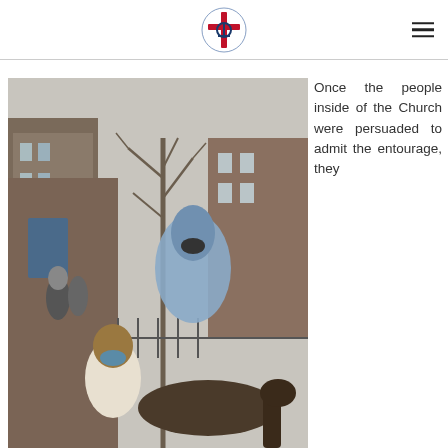[Church logo] [hamburger menu]
[Figure (photo): Outdoor scene in front of a brick church building. A person wearing a blue robe/cloak and face mask is riding a donkey, accompanied by another person in a brown hood and white outfit. Other people and a metal fence are visible in the background, with bare trees and brick apartment buildings.]
Once the people inside of the Church were persuaded to admit the entourage, they